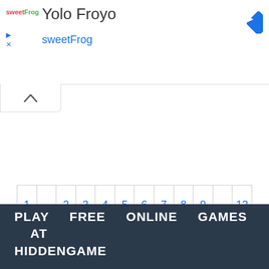[Figure (screenshot): sweetFrog logo with colored text showing 'sweet' in red and 'Frog' in green]
Yolo Froyo
sweetFrog
[Figure (other): Blue diamond-shaped navigation/turn-right icon in top right corner]
[Figure (other): Collapse/chevron up button below the ad banner]
1 ... 2 3 4 5 6 7 8 9 ... 12
PLAY FREE ONLINE GAMES AT HIDDENGAME